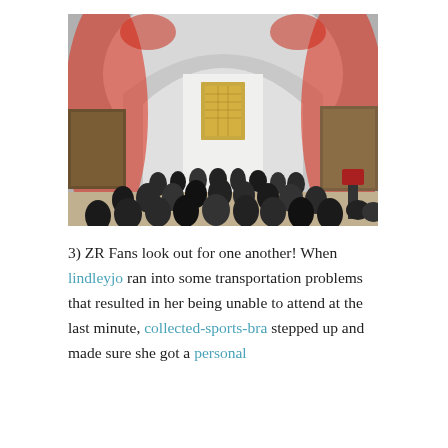[Figure (photo): A museum gallery with a large arched ceiling lit with red lights. A crowd of people stands facing a large illuminated golden altarpiece artwork on the far wall. Paintings hang on side walls.]
3) ZR Fans look out for one another! When lindleyjo ran into some transportation problems that resulted in her being unable to attend at the last minute, collected-sports-bra stepped up and made sure she got a personal